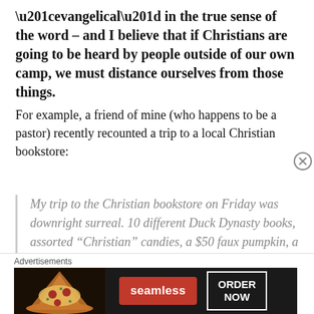“evangelical” in the true sense of the word – and I believe that if Christians are going to be heard by people outside of our own camp, we must distance ourselves from those things.
For example, a friend of mine (who happens to be a pastor) recently recounted a trip to a local Christian bookstore:
My trip to the Christian bookstore on Friday was downright surreal. 10 different Duck Dynasty books, assorted “Christian” candies, a $50 faux pumpkin, a prescription bottle with Bible verses inside and a “legalize prayer” t-
[Figure (other): Seamless food delivery advertisement banner with pizza image, Seamless logo button in red, and ORDER NOW button in white border on dark background.]